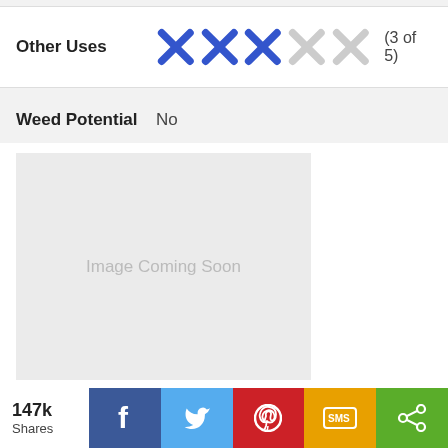Other Uses (3 of 5) — 3 blue X icons, 2 grey X icons
Weed Potential: No
Medicinal Rating (2 of 5) — 2 red hearts, 3 grey hearts
Care (info) — icons: one drop, two drops, sun
[Figure (illustration): Image Coming Soon placeholder box]
147k Shares — Facebook, Twitter, Pinterest, SMS, Share social buttons